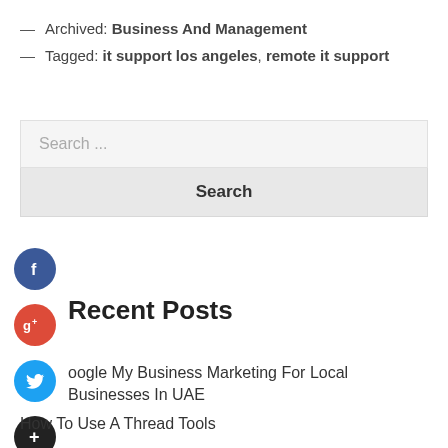— Archived: Business And Management
— Tagged: it support los angeles, remote it support
Search ...
Search
[Figure (illustration): Social media share icons: Facebook (blue circle with f), Google+ (red circle with g+), Twitter (blue circle with bird), Plus/Add (dark circle with +)]
Recent Posts
oogle My Business Marketing For Local Businesses In UAE
How To Use A Thread Tools